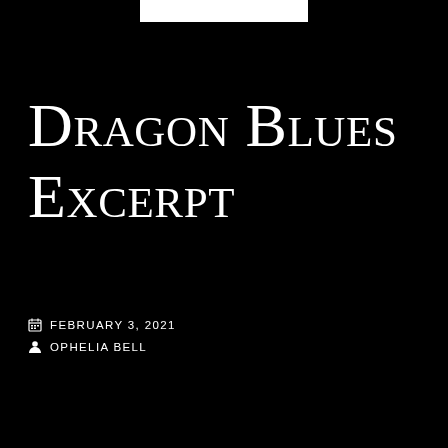Dragon Blues Excerpt
February 3, 2021
Ophelia Bell